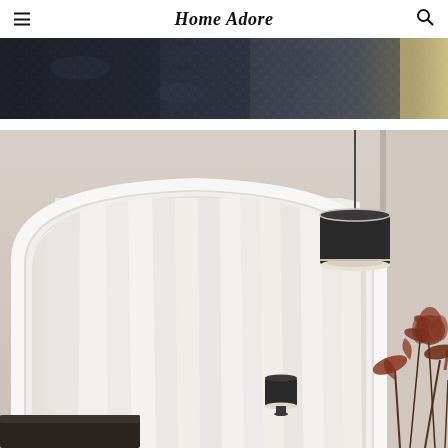Home Adore
[Figure (photo): Top portion of an interior room photo showing a dark patterned textile/rug in dark blue and grey tones with a beige/cream accent at the right edge]
[Figure (photo): Interior room scene featuring a large arched white-framed mirror reflecting white sheer curtains, a dark cylindrical pendant light hanging from a black cord, a small dark table lamp, dried floral arrangement with reddish foliage at lower right, and a dark chair visible at bottom]